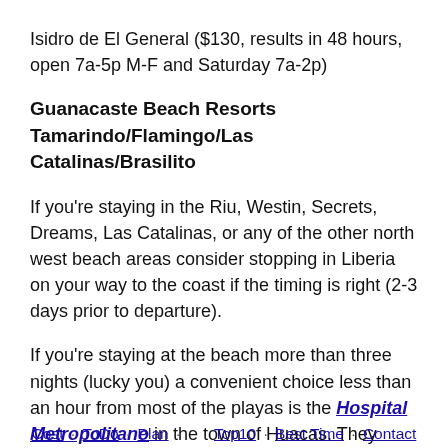Isidro de El General ($130, results in 48 hours, open 7a-5p M-F and Saturday 7a-2p)
Guanacaste Beach Resorts Tamarindo/Flamingo/Las Catalinas/Brasilito
If you're staying in the Riu, Westin, Secrets, Dreams, Las Catalinas, or any of the other north west beach areas consider stopping in Liberia on your way to the coast if the timing is right (2-3 days prior to departure).
If you're staying at the beach more than three nights (lucky you) a convenient choice less than an hour from most of the playas is the Hospital Metropolitano in the town of Huacas. They have in
Cost · ToDo · Plan · Top10 · Best Time · Contact